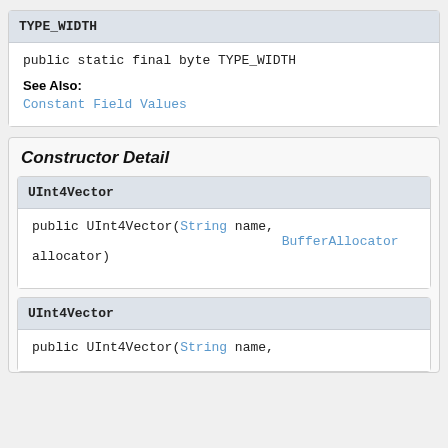TYPE_WIDTH
public static final byte TYPE_WIDTH
See Also:
Constant Field Values
Constructor Detail
UInt4Vector
public UInt4Vector(String name, BufferAllocator allocator)
UInt4Vector
public UInt4Vector(String name,